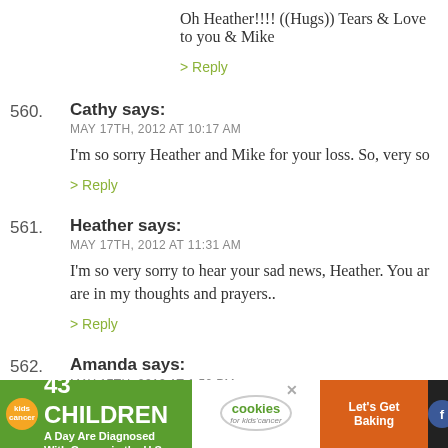Oh Heather!!!! ((Hugs)) Tears & Love to you & Mike
> Reply
560. Cathy says: MAY 17TH, 2012 AT 10:17 AM — I'm so sorry Heather and Mike for your loss. So, very so
> Reply
561. Heather says: MAY 17TH, 2012 AT 11:31 AM — I'm so very sorry to hear your sad news, Heather. You are in my thoughts and prayers..
> Reply
562. Amanda says: MAY 17TH, 2012 AT 1:50 PM — Longtime reader, rarely comment...I am sorry. Just so ve
[Figure (screenshot): Advertisement banner: '43 CHILDREN A Day Are Diagnosed With Cancer in the U.S.' with cookies for kids cancer and Let's Get Baking logos]